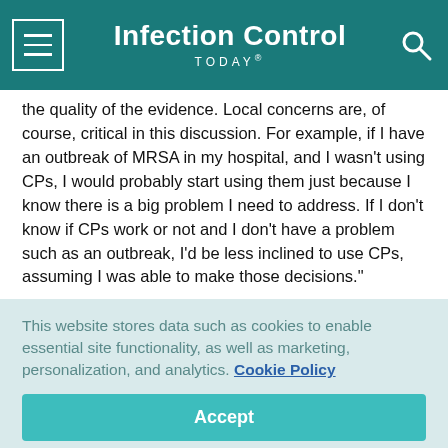Infection Control TODAY®
the quality of the evidence. Local concerns are, of course, critical in this discussion. For example, if I have an outbreak of MRSA in my hospital, and I wasn't using CPs, I would probably start using them just because I know there is a big problem I need to address. If I don't know if CPs work or not and I don't have a problem such as an outbreak, I'd be less inclined to use CPs, assuming I was able to make those decisions."
This website stores data such as cookies to enable essential site functionality, as well as marketing, personalization, and analytics. Cookie Policy